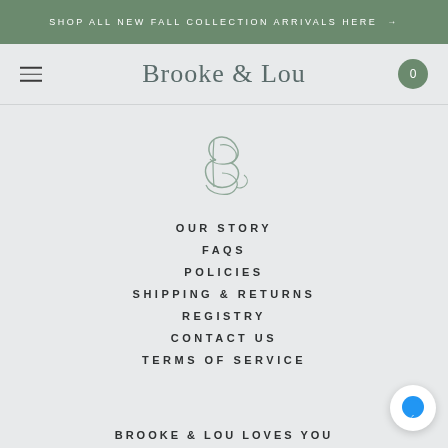SHOP ALL NEW FALL COLLECTION ARRIVALS HERE →
Brooke & Lou
[Figure (logo): Stylized cursive letter B logo in light sage green]
OUR STORY
FAQS
POLICIES
SHIPPING & RETURNS
REGISTRY
CONTACT US
TERMS OF SERVICE
BROOKE & LOU LOVES YOU